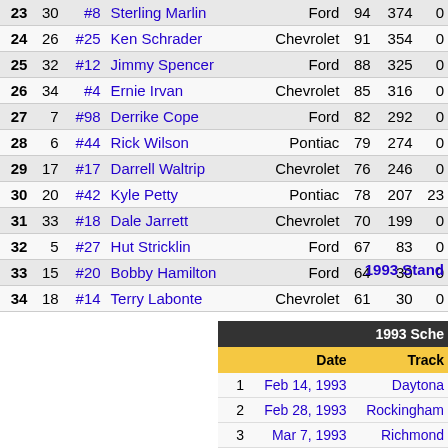| Pos | St | Car | Driver | Make | Laps | Pts | Bonus |
| --- | --- | --- | --- | --- | --- | --- | --- |
| 23 | 30 | #8 | Sterling Marlin | Ford | 94 | 374 | 0 |
| 24 | 26 | #25 | Ken Schrader | Chevrolet | 91 | 354 | 0 |
| 25 | 32 | #12 | Jimmy Spencer | Ford | 88 | 325 | 0 |
| 26 | 34 | #4 | Ernie Irvan | Chevrolet | 85 | 316 | 0 |
| 27 | 7 | #98 | Derrike Cope | Ford | 82 | 292 | 0 |
| 28 | 6 | #44 | Rick Wilson | Pontiac | 79 | 274 | 0 |
| 29 | 17 | #17 | Darrell Waltrip | Chevrolet | 76 | 246 | 0 |
| 30 | 20 | #42 | Kyle Petty | Pontiac | 78 | 207 | 23 |
| 31 | 33 | #18 | Dale Jarrett | Chevrolet | 70 | 199 | 0 |
| 32 | 5 | #27 | Hut Stricklin | Ford | 67 | 83 | 0 |
| 33 | 15 | #20 | Bobby Hamilton | Ford | 64 | 30 | 0 |
| 34 | 18 | #14 | Terry Labonte | Chevrolet | 61 | 30 | 0 |
1993 Stand
| 1993 Schedule | Date | Track |
| --- | --- | --- |
| 1 | Feb 14, 1993 | Daytona |
| 2 | Feb 28, 1993 | Rockingham |
| 3 | Mar 7, 1993 | Richmond |